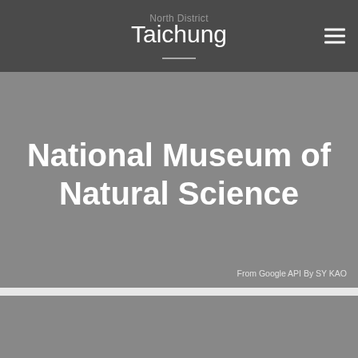North District / Taichung
National Museum of Natural Science
From Google API By SY KAO
[Figure (photo): Gray placeholder image panel below the museum title card]